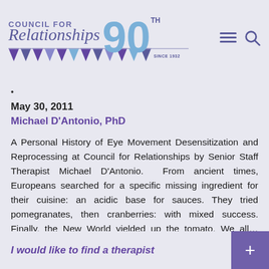[Figure (logo): Council for Relationships 90th Anniversary logo with blue script and large '90' numeral with pennant banner]
·
May 30, 2011
Michael D'Antonio, PhD
A Personal History of Eye Movement Desensitization and Reprocessing at Council for Relationships by Senior Staff Therapist Michael D'Antonio.  From ancient times, Europeans searched for a specific missing ingredient for their cuisine: an acidic base for sauces. They tried pomegranates, then cranberries: with mixed success. Finally, the New World yielded up the tomato. We all… Read More
I would like to find a therapist